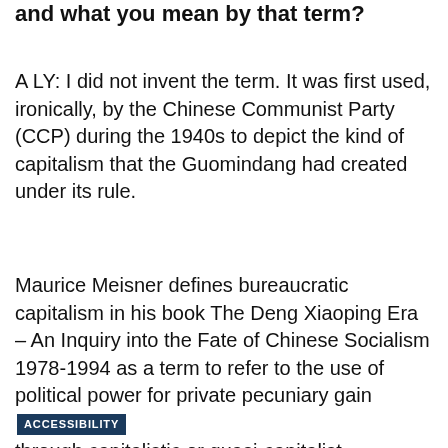and what you mean by that term?
A LY: I did not invent the term. It was first used, ironically, by the Chinese Communist Party (CCP) during the 1940s to depict the kind of capitalism that the Guomindang had created under its rule.
Maurice Meisner defines bureaucratic capitalism in his book The Deng Xiaoping Era – An Inquiry into the Fate of Chinese Socialism 1978-1994 as a term to refer to the use of political power for private pecuniary gain through capitalistic or quasi-capitalist